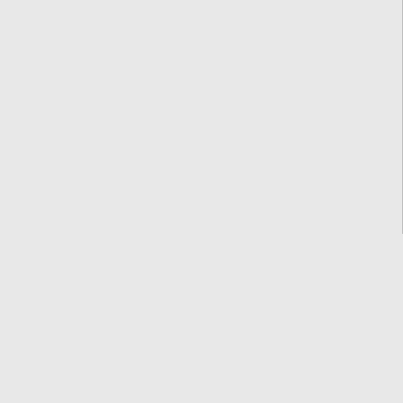| NXX | State | Company | ... |
| --- | --- | --- | --- |
| 281-204-1 | TX | TELEPORT COMMUNICATIONS AMERIC (AT&T) | 7 |
| 281-204-2 | TX | PEERLESS NETWORK OF TEXAS, LLC | 1 |